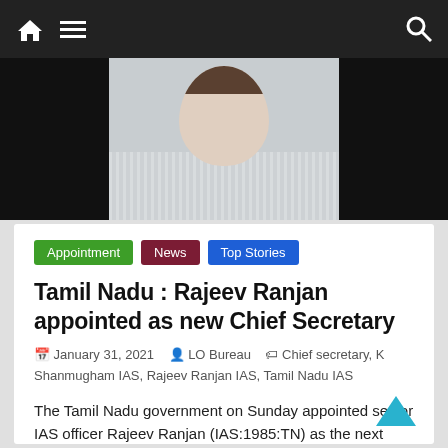Navigation bar with home, menu, and search icons
[Figure (photo): Top portion of a person in a striped shirt, photo on black background]
Appointment  News  Top Stories
Tamil Nadu : Rajeev Ranjan appointed as new Chief Secretary
January 31, 2021   LO Bureau   Chief secretary, K Shanmugham IAS, Rajeev Ranjan IAS, Tamil Nadu IAS
The Tamil Nadu government on Sunday appointed senior IAS officer Rajeev Ranjan (IAS:1985:TN) as the next Chief Secretary of the
Read more